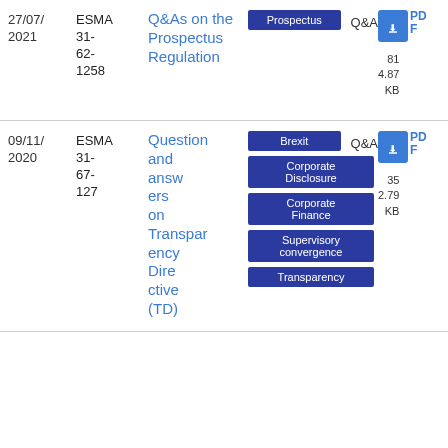| Date | Reference | Title | Tags | Type | Download | Size |
| --- | --- | --- | --- | --- | --- | --- |
| 27/07/2021 | ESMA 31-62-1258 | Q&As on the Prospectus Regulation | Prospectus | Q&A | PDF | 81 4.87 KB |
| 09/11/2020 | ESMA 31-67-127 | Questions and answers on Transparency Directive (TD) | Brexit | Q&A | Corporate Disclosure | Corporate Finance | Supervisory convergence | Transparency | PDF | 35 2.79 KB |